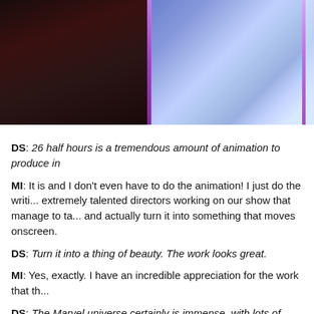[Figure (illustration): Animated scene split into two panels: left panel is dark with reddish-brown tones showing a figure in shadow, right panel is bright blue/purple with glowing vertical light effects and a character silhouette at top]
DS: 26 half hours is a tremendous amount of animation to produce in
MI: It is and I don't even have to do the animation! I just do the writi... extremely talented directors working on our show that manage to ta... and actually turn it into something that moves onscreen.
DS: Turn it into a thing of beauty. The work looks great.
MI: Yes, exactly. I have an incredible appreciation for the work that th...
DS: The Marvel universe certainly is immense, with lots of properties ... What is it about this property, the set of stories you're telling through... think is the most interesting and compelling for your audience?
MI: Well for me in particular, what makes it special is something you... animation – you get to have rogue heroes. Heroes with real flaws, he...